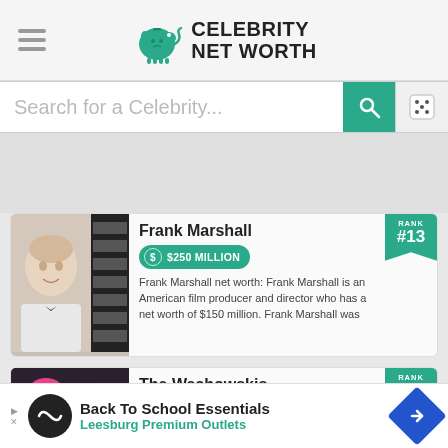Celebrity Net Worth
Search for a Celebrity...
Frank Marshall — RANK #13 — $250 MILLION — Frank Marshall net worth: Frank Marshall is an American film producer and director who has a net worth of $150 million. Frank Marshall was
The Wachowskis — RANK #14 — $250 MILLION — Lana and Lilly Wachowski, formerly known as the Wachowski —mbined
Back To School Essentials · Leesburg Premium Outlets